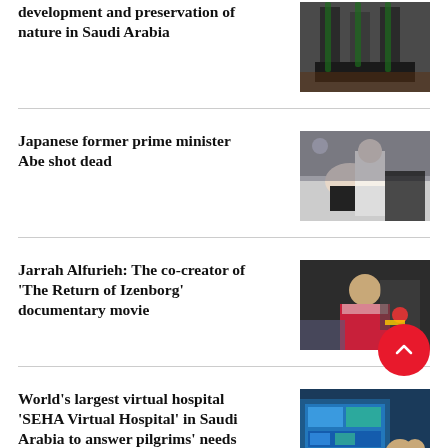development and preservation of nature in Saudi Arabia
[Figure (photo): Industrial or architectural photo related to nature preservation in Saudi Arabia]
Japanese former prime minister Abe shot dead
[Figure (photo): People gathered around a fallen person on the ground, news event photo]
Jarrah Alfurieh: The co-creator of 'The Return of Izenborg' documentary movie
[Figure (photo): Man in traditional Saudi dress at an event holding a trophy or device]
World's largest virtual hospital 'SEHA Virtual Hospital' in Saudi Arabia to answer pilgrims' needs
[Figure (photo): Men in Saudi dress in front of screens showing hospital monitoring interface]